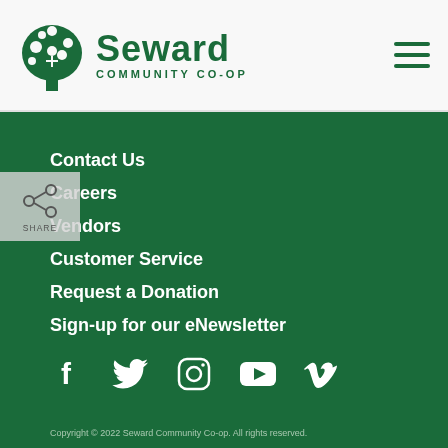Seward Community Co-op
Contact Us
Careers
Vendors
Customer Service
Request a Donation
Sign-up for our eNewsletter
[Figure (infographic): Social media icons: Facebook, Twitter, Instagram, YouTube, Vimeo]
Copyright © 2022 Seward Community Co-op. All rights reserved.